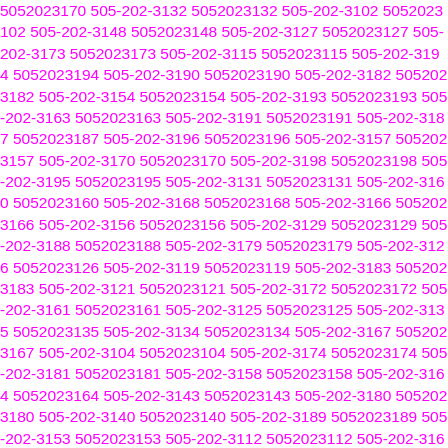5052023170 505-202-3132 5052023132 505-202-3102 5052023102 505-202-3148 5052023148 505-202-3127 5052023127 505-202-3173 5052023173 505-202-3115 5052023115 505-202-3194 5052023194 505-202-3190 5052023190 505-202-3182 5052023182 505-202-3154 5052023154 505-202-3193 5052023193 505-202-3163 5052023163 505-202-3191 5052023191 505-202-3187 5052023187 505-202-3196 5052023196 505-202-3157 5052023157 505-202-3170 5052023170 505-202-3198 5052023198 505-202-3195 5052023195 505-202-3131 5052023131 505-202-3160 5052023160 505-202-3168 5052023168 505-202-3166 5052023166 505-202-3156 5052023156 505-202-3129 5052023129 505-202-3188 5052023188 505-202-3179 5052023179 505-202-3126 5052023126 505-202-3119 5052023119 505-202-3183 5052023183 505-202-3121 5052023121 505-202-3172 5052023172 505-202-3161 5052023161 505-202-3125 5052023125 505-202-3135 5052023135 505-202-3134 5052023134 505-202-3167 5052023167 505-202-3104 5052023104 505-202-3174 5052023174 505-202-3181 5052023181 505-202-3158 5052023158 505-202-3164 5052023164 505-202-3143 5052023143 505-202-3180 5052023180 505-202-3140 5052023140 505-202-3189 5052023189 505-202-3153 5052023153 505-202-3112 5052023112 505-202-3165 5052023165 505-202-3145 5052023145 505-202-3110 5052023110 505-202-3199 5052023199 505-202-3185 5052023185 505-202-3105 5052023105 505-202-3114 5052023114 505-202-3186 5052023186 505-202-3133 5052023133 505-202-3128 5052023128 505-202-3171 5052023171 505-202-3162 5052023162 505-202-3142 5052023142 505-202-3116 5052023116 505-202-3129 5052023129 505-202-3147 5052023147 505-202-